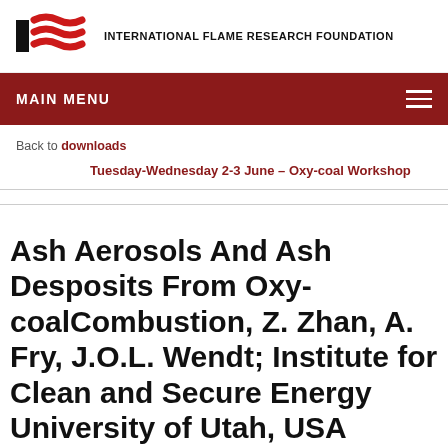[Figure (logo): International Flame Research Foundation logo with red flame/wave shapes and black rectangle, followed by organization name text]
MAIN MENU
Back to downloads
Tuesday-Wednesday 2-3 June – Oxy-coal Workshop
Ash Aerosols And Ash Desposits From Oxy-coalCombustion, Z. Zhan, A. Fry, J.O.L. Wendt; Institute for Clean and Secure Energy University of Utah, USA